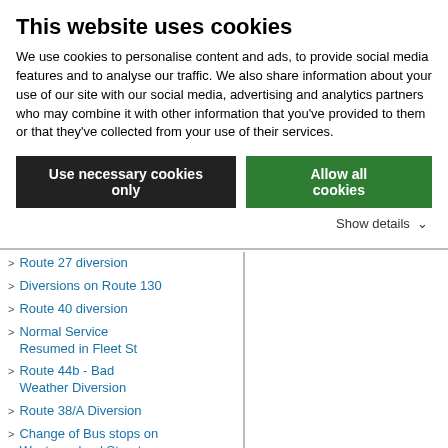This website uses cookies
We use cookies to personalise content and ads, to provide social media features and to analyse our traffic. We also share information about your use of our site with our social media, advertising and analytics partners who may combine it with other information that you've provided to them or that they've collected from your use of their services.
Use necessary cookies only
Allow all cookies
Show details ∨
Route 27 diversion
Diversions on Route 130
Route 40 diversion
Normal Service Resumed in Fleet St
Route 44b - Bad Weather Diversion
Route 38/A Diversion
Change of Bus stops on Westmoreland Street
Diversion Route 239
Delays on Services due to Protest
Diversion Routes 38/A/220
Diversions route 238/38/a/17a